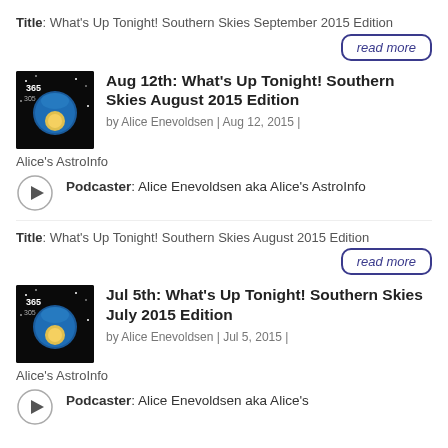Title: What's Up Tonight! Southern Skies September 2015 Edition
read more
Aug 12th: What's Up Tonight! Southern Skies August 2015 Edition
by Alice Enevoldsen | Aug 12, 2015 | Alice's AstroInfo
Podcaster: Alice Enevoldsen aka Alice's AstroInfo
Title: What's Up Tonight! Southern Skies August 2015 Edition
read more
Jul 5th: What's Up Tonight! Southern Skies July 2015 Edition
by Alice Enevoldsen | Jul 5, 2015 | Alice's AstroInfo
Podcaster: Alice Enevoldsen aka Alice's